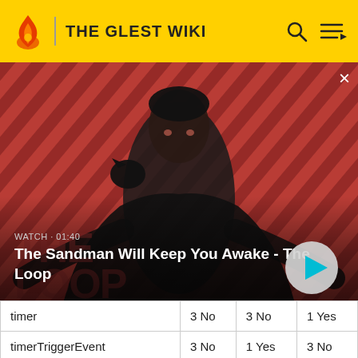THE GLEST WIKI
[Figure (screenshot): Hero image showing The Sandman character with a raven on shoulder against a red diagonal striped background. Text overlay: WATCH · 01:40 / The Sandman Will Keep You Awake - The Loop. Play button visible.]
| timer | 3 No | 3 No | 1 Yes |
| timerTriggerEvent | 3 No | 1 Yes | 3 No |
| unitAttacked | 3 No | 1 Yes | 3 No |
| unitAttacking | 3 No | 1 Yes | 3 No |